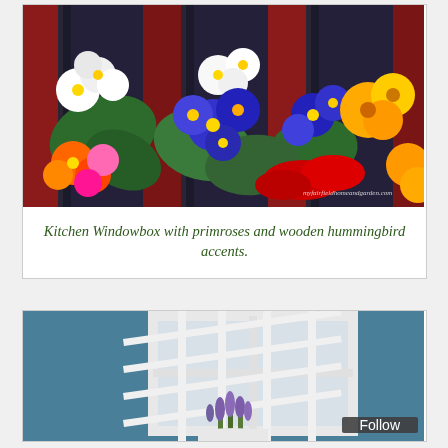[Figure (photo): Kitchen windowbox with colorful primrose flowers (white, blue/purple, yellow, orange, pink, red) and wooden hummingbird accents against a red wooden fence background. Watermark reads myfairfieldHomeandgarden.com]
Kitchen Windowbox with primroses and wooden hummingbird accents.
[Figure (photo): White lattice trellis leaning against a window on a teal/blue-painted house exterior, with purple lavender flowers in a white pot at the base]
Follow